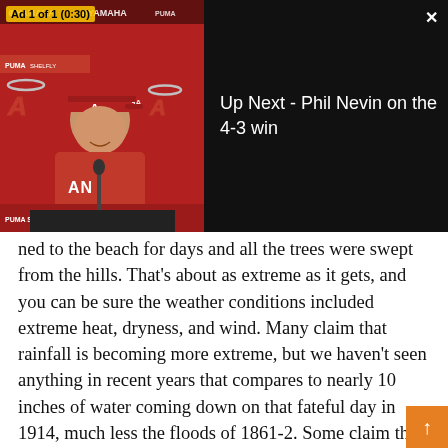[Figure (screenshot): Video player overlay showing a baseball press conference. Ad label 'Ad 1 of 1 (0:30)' in top left. Man in Los Angeles Angels red jersey at podium. Right side shows dark background with text 'Up Next - Phil Nevin on the 4-3 win'. Close button (X) top right.]
ned to the beach for days and all the trees were swept from the hills. That's about as extreme as it gets, and you can be sure the weather conditions included extreme heat, dryness, and wind. Many claim that rainfall is becoming more extreme, but we haven't seen anything in recent years that compares to nearly 10 inches of water coming down on that fateful day in 1914, much less the floods of 1861-2. Some claim that we are transitioning into a permanent drought, but don't think for a minute that an extreme rainfall event like these couldn't happen again. The historical accounts show that nature has unleashed more extreme drought, heat, wind, waves, and rain in